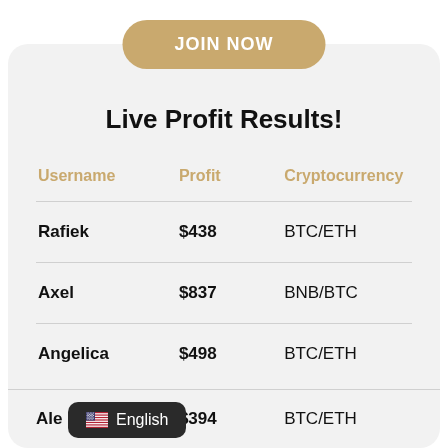JOIN NOW
Live Profit Results!
| Username | Profit | Cryptocurrency |
| --- | --- | --- |
| Rafiek | $438 | BTC/ETH |
| Axel | $837 | BNB/BTC |
| Angelica | $498 | BTC/ETH |
| Ale[cutoff] | $394 | BTC/ETH |
🇺🇸 English